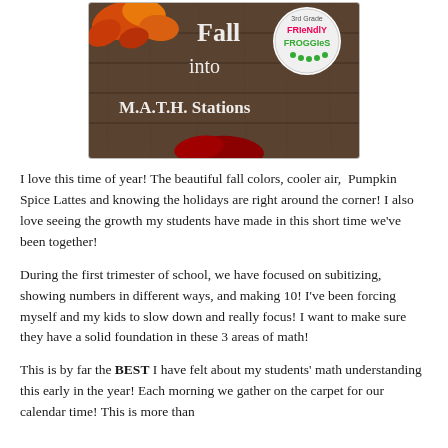[Figure (photo): Book cover image showing fall leaves on a wooden background with text 'Fall into M.A.T.H. Stations' and a circular logo reading '3rd Grade Friendly Froggies']
I love this time of year!  The beautiful fall colors, cooler air,  Pumpkin Spice Lattes and knowing the holidays are right around the corner!  I also love seeing the growth my students have made in this short time we've been together!
During the first trimester of school, we have focused on subitizing, showing numbers in different ways, and making 10!  I've been forcing myself and my kids to slow down and really focus!  I want to make sure they have a solid foundation in these 3 areas of math!
This is by far the BEST I have felt about my students' math understanding this early in the year!  Each morning we gather on the carpet for our calendar time!  This is more than